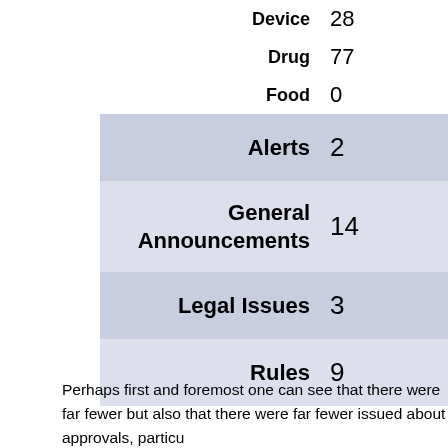| Category | Value |
| --- | --- |
| Device | 28 |
| Drug | 77 |
| Food | 0 |
| Alerts | 2 |
| General Announcements | 14 |
| Legal Issues | 3 |
| Rules | 9 |
Perhaps first and foremost one can see that there were far fewer but also that there were far fewer issued about approvals, particu